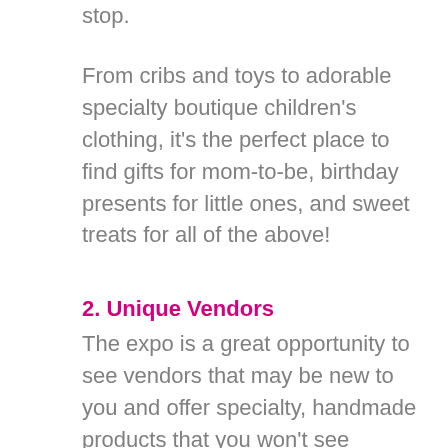stop.
From cribs and toys to adorable specialty boutique children's clothing, it's the perfect place to find gifts for mom-to-be, birthday presents for little ones, and sweet treats for all of the above!
2. Unique Vendors
The expo is a great opportunity to see vendors that may be new to you and offer specialty, handmade products that you won't see elsewhere!